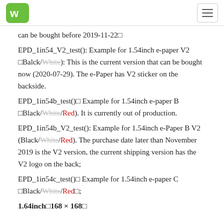WS logo and hamburger menu
can be bought before 2019-11-22
EPD_1in54_V2_test(): Example for 1.54inch e-paper V2  Balck/White): This is the current version that can be bought now (2020-07-29). The e-Paper has V2 sticker on the backside.
EPD_1in54b_test()  Example for 1.54inch e-paper B  Black/White/Red). It is currently out of production.
EPD_1in54b_V2_test(): Example for 1.54inch e-Paper B V2 (Black/White/Red). The purchase date later than November 2019 is the V2 version, the current shipping version has the V2 logo on the back;
EPD_1in54c_test()  Example for 1.54inch e-paper C  Black/White/Red ;
1.64inch 168 × 168